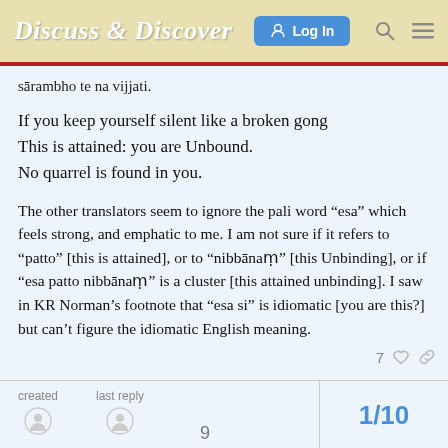Discuss & Discover  Log In
sārambho te na vijjati.
If you keep yourself silent like a broken gong
This is attained: you are Unbound.
No quarrel is found in you.
The other translators seem to ignore the pali word "esa" which feels strong, and emphatic to me. I am not sure if it refers to "patto" [this is attained], or to "nibbānaṃ" [this Unbinding], or if "esa patto nibbānaṃ" is a cluster [this attained unbinding]. I saw in KR Norman's footnote that "esa si" is idiomatic [you are this?] but can't figure the idiomatic English meaning.
created  last reply  9   1/10